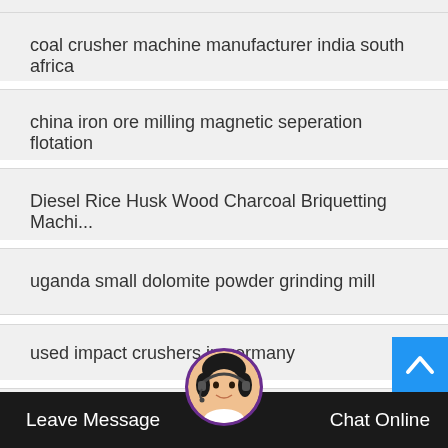coal crusher machine manufacturer india south africa
china iron ore milling magnetic seperation flotation
Diesel Rice Husk Wood Charcoal Briquetting Machi...
uganda small dolomite powder grinding mill
used impact crushers in germany
Brazil efficient large ilmenite spiral chute separator ...
gold claimer trommel fo... hinagrindingmill net
[Figure (photo): Customer service avatar - woman with headset]
Leave Message
Chat Online